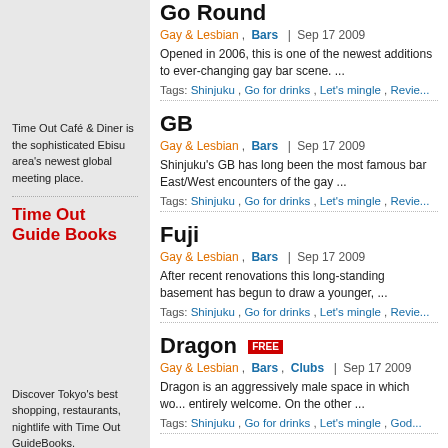Time Out Café & Diner is the sophisticated Ebisu area's newest global meeting place.
Time Out Guide Books
Discover Tokyo's best shopping, restaurants, nightlife with Time Out GuideBooks.
Go Round
Gay & Lesbian , Bars | Sep 17 2009
Opened in 2006, this is one of the newest additions to ever-changing gay bar scene. ...
Tags: Shinjuku , Go for drinks , Let's mingle , Revie...
GB
Gay & Lesbian , Bars | Sep 17 2009
Shinjuku's GB has long been the most famous bar... East/West encounters of the gay ...
Tags: Shinjuku , Go for drinks , Let's mingle , Revie...
Fuji
Gay & Lesbian , Bars | Sep 17 2009
After recent renovations this long-standing basement has begun to draw a younger, ...
Tags: Shinjuku , Go for drinks , Let's mingle , Revie...
Dragon FREE
Gay & Lesbian , Bars , Clubs | Sep 17 2009
Dragon is an aggressively male space in which wo... entirely welcome. On the other ...
Tags: Shinjuku , Go for drinks , Let's mingle , God...